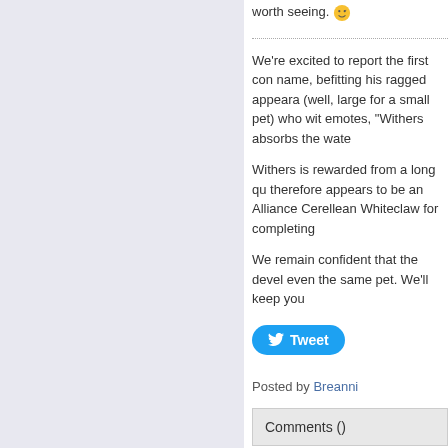worth seeing. 😉
We're excited to report the first con name, befitting his ragged appeara (well, large for a small pet) who wit emotes, "Withers absorbs the wate
Withers is rewarded from a long qu therefore appears to be an Alliance Cerellean Whiteclaw for completing
We remain confident that the devel even the same pet. We'll keep you
[Figure (other): Tweet button]
Posted by Breanni
Comments ()
Updates on Pets in Catac